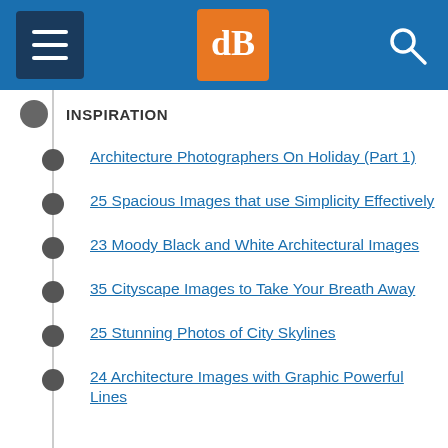dPS navigation header with menu, logo, and search
INSPIRATION
Architecture Photographers On Holiday (Part 1)
25 Spacious Images that use Simplicity Effectively
23 Moody Black and White Architectural Images
35 Cityscape Images to Take Your Breath Away
25 Stunning Photos of City Skylines
24 Architecture Images with Graphic Powerful Lines